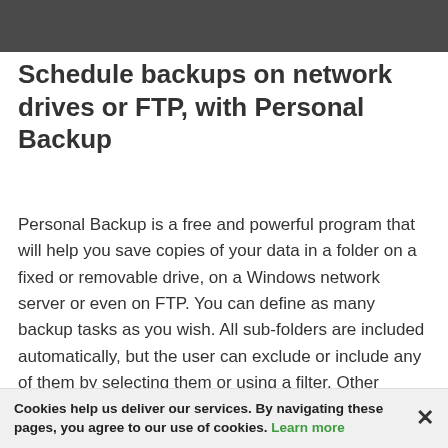Schedule backups on network drives or FTP, with Personal Backup
Personal Backup is a free and powerful program that will help you save copies of your data in a folder on a fixed or removable drive, on a Windows network server or even on FTP. You can define as many backup tasks as you wish. All sub-folders are included automatically, but the user can exclude or include any of them by selecting them or using a filter. Other criteria include selection by file type, file age and / or file name.
Cookies help us deliver our services. By navigating these pages, you agree to our use of cookies. Learn more